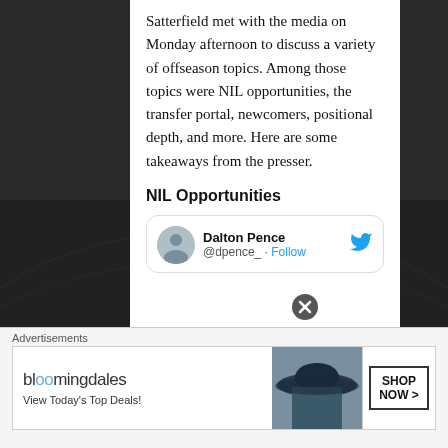Satterfield met with the media on Monday afternoon to discuss a variety of offseason topics. Among those topics were NIL opportunities, the transfer portal, newcomers, positional depth, and more. Here are some takeaways from the presser.
NIL Opportunities
[Figure (screenshot): Embedded tweet card from Dalton Pence (@dpence_) with a Follow button and Twitter bird icon]
Advertisements
[Figure (infographic): Bloomingdales advertisement banner: 'View Today's Top Deals!' with SHOP NOW > button]